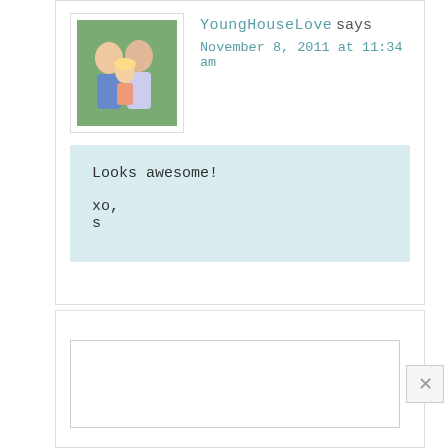[Figure (photo): Avatar photo of a couple with child, used as commenter profile picture]
YoungHouseLove says
November 8, 2011 at 11:34 am
Looks awesome!

xo,
s